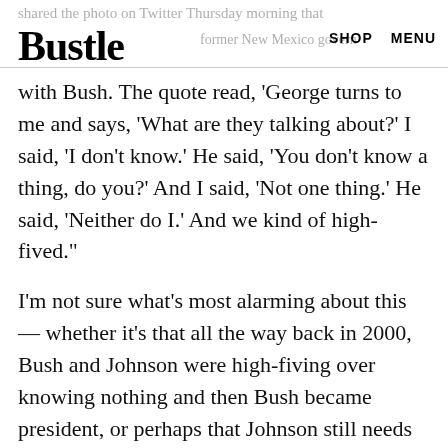Bustle | SHOP  MENU
shared the photo on Twitter Thursday morning that former New Mexico governor with Bush. The quote read, 'George turns to me and says, 'What are they talking about?' I said, 'I don't know.' He said, 'You don't know a thing, do you?' And I said, 'Not one thing.' He said, 'Neither do I.' And we kind of high-fived."
I'm not sure what's most alarming about this — whether it's that all the way back in 2000, Bush and Johnson were high-fiving over knowing nothing and then Bush became president, or perhaps that Johnson still needs to brush up on some knowledge as he runs for the same office 16 years later. Can the world afford to have an American president who doesn't seem to